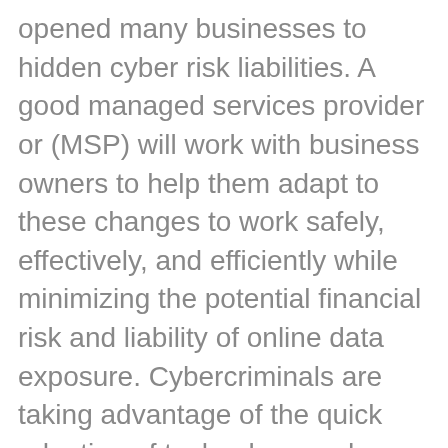opened many businesses to hidden cyber risk liabilities. A good managed services provider or (MSP) will work with business owners to help them adapt to these changes to work safely, effectively, and efficiently while minimizing the potential financial risk and liability of online data exposure. Cybercriminals are taking advantage of the quick adaption of technology and finding gaps they can exploit. Managed IT service providers often partner with these businesses to monitor your systems, apply patches, protect against viruses, ensure backups are performed successfully, and more. Read the full article to learn the latest stats on the threat landscape and some tips to cover your cyber risk liability. As a local managed services provider, ICX Managed Services works with clients to evaluate the...